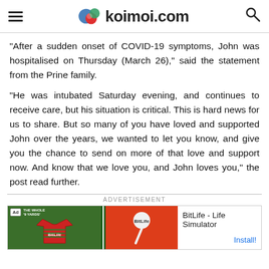koimoi.com
“After a sudden onset of COVID-19 symptoms, John was hospitalised on Thursday (March 26),” said the statement from the Prine family.
“He was intubated Saturday evening, and continues to receive care, but his situation is critical. This is hard news for us to share. But so many of you have loved and supported John over the years, we wanted to let you know, and give you the chance to send on more of that love and support now. And know that we love you, and John loves you,” the post read further.
[Figure (other): Advertisement banner for BitLife - Life Simulator app with green and orange background featuring a shirt graphic and sperm icon. Install button on the right.]